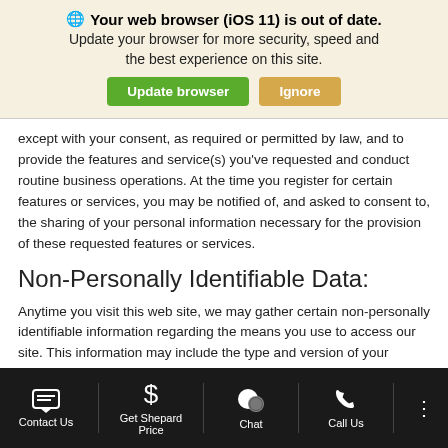[Figure (screenshot): Browser update banner with globe icon, title 'Your web browser (iOS 11) is out of date.', subtitle text, and two buttons: 'Update browser' (green) and 'Ignore' (tan/gold)]
except with your consent, as required or permitted by law, and to provide the features and service(s) you've requested and conduct routine business operations. At the time you register for certain features or services, you may be notified of, and asked to consent to, the sharing of your personal information necessary for the provision of these requested features or services.
Non-Personally Identifiable Data:
Anytime you visit this web site, we may gather certain non-personally identifiable information regarding the means you use to access our site. This information may include the type and version of your browser, your service provider, your IP address, device ID, certain geo-location data
Contact Us | Get Shepard Price | Chat | Call Us | more